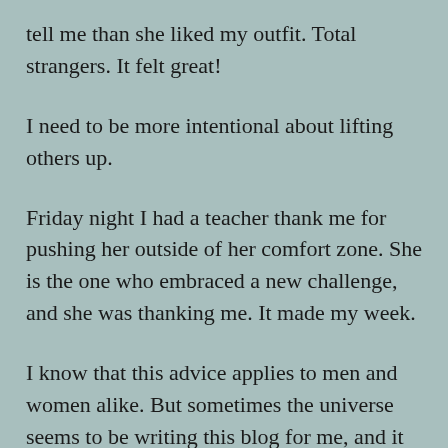tell me than she liked my outfit. Total strangers. It felt great!
I need to be more intentional about lifting others up.
Friday night I had a teacher thank me for pushing her outside of her comfort zone. She is the one who embraced a new challenge, and she was thanking me. It made my week.
I know that this advice applies to men and women alike. But sometimes the universe seems to be writing this blog for me, and it